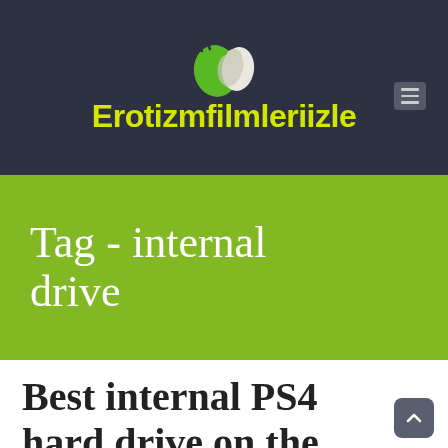[Figure (logo): Erotizmfilmleriizle website logo with green and white stylized figures and yellow text on dark navy background]
Tag - internal drive
Best internal PS4 hard drive on the market